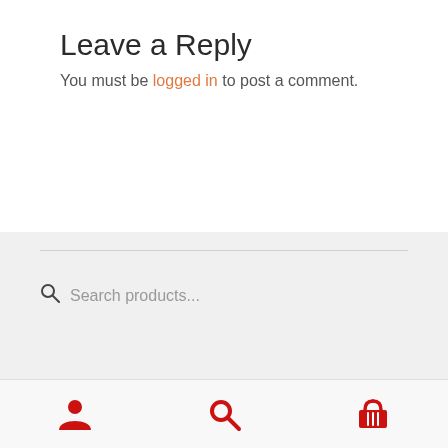Leave a Reply
You must be logged in to post a comment.
Search products...
Product categories
[Figure (other): Bottom navigation bar with three red icons: user/person icon, search magnifying glass icon, and shopping basket/cart icon]